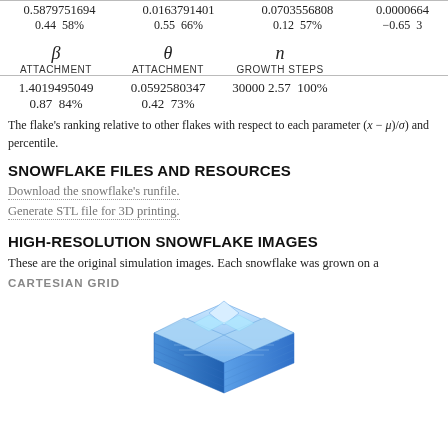|  |  |  |  |
| --- | --- | --- | --- |
| 0.5879751694
0.44  58% | 0.0163791401
0.55  66% | 0.0703556808
0.12  57% | 0.0000664…
−0.65  3… |
| β ATTACHMENT | θ ATTACHMENT | n GROWTH STEPS |  |
| --- | --- | --- | --- |
| 1.4019495049
0.87  84% | 0.0592580347
0.42  73% | 30000
2.57  100% |  |
The flake's ranking relative to other flakes with respect to each parameter (x − μ)/σ and percentile.
SNOWFLAKE FILES AND RESOURCES
Download the snowflake's runfile.
Generate STL file for 3D printing.
HIGH-RESOLUTION SNOWFLAKE IMAGES
These are the original simulation images. Each snowflake was grown on a …
CARTESIAN GRID
[Figure (illustration): 3D isometric rendering of a blue crystalline snowflake structure on a Cartesian grid]